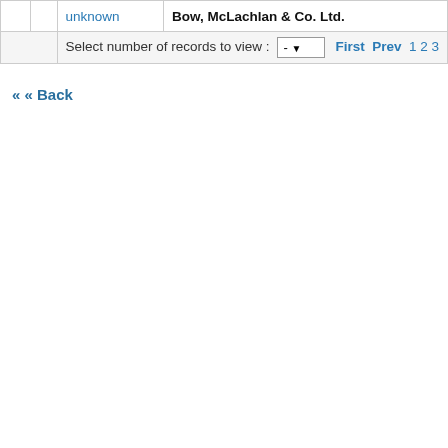|  |  | unknown | Bow, McLachlan & Co. Ltd. |
| --- | --- | --- | --- |
|  |  | Select number of records to view : - [dropdown] First Prev 1 2 3 |  |
« « Back